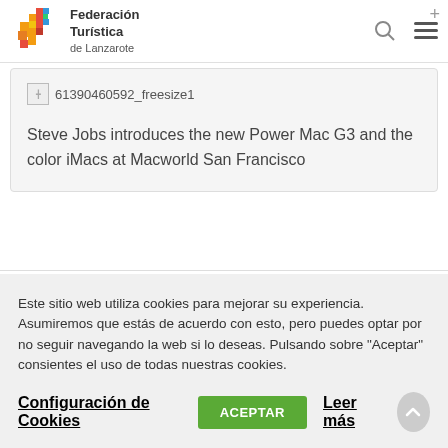[Figure (logo): Federación Turística de Lanzarote logo with colorful pixel/square motif]
[Figure (other): Broken image placeholder labeled 61390460592_freesize1]
Steve Jobs introduces the new Power Mac G3 and the color iMacs at Macworld San Francisco
Este sitio web utiliza cookies para mejorar su experiencia. Asumiremos que estás de acuerdo con esto, pero puedes optar por no seguir navegando la web si lo deseas. Pulsando sobre "Aceptar" consientes el uso de todas nuestras cookies.
Configuración de Cookies  ACEPTAR  Leer más